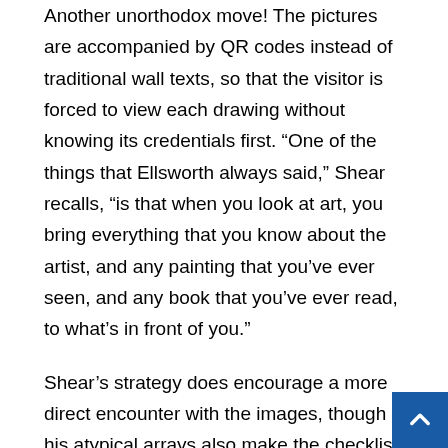Another unorthodox move! The pictures are accompanied by QR codes instead of traditional wall texts, so that the visitor is forced to view each drawing without knowing its credentials first. “One of the things that Ellsworth always said,” Shear recalls, “is that when you look at art, you bring everything that you know about the artist, and any painting that you’ve ever seen, and any book that you’ve ever read, to what’s in front of you.”
Shear’s strategy does encourage a more direct encounter with the images, though his atypical arrays also make the checklist feel more essential as a potential source for clues that might connect the works.